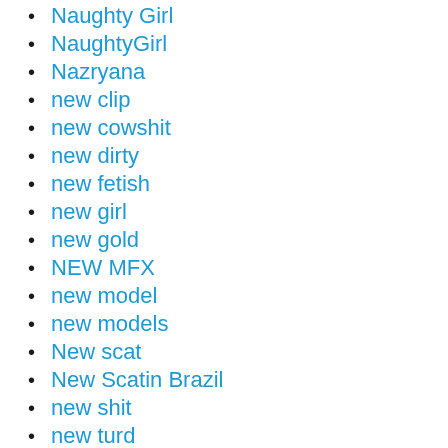Naughty Girl
NaughtyGirl
Nazryana
new clip
new cowshit
new dirty
new fetish
new girl
new gold
NEW MFX
new model
new models
New scat
New Scatin Brazil
new shit
new turd